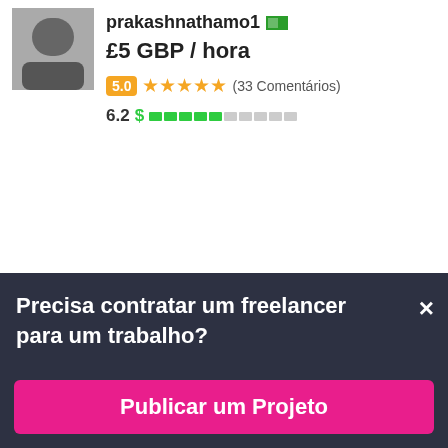[Figure (photo): Profile photo of prakashnathamo1, dark background]
prakashnathamo1 [flag]
£5 GBP / hora
5.0 ★★★★★ (33 Comentários)
6.2 $ [progress bar]
[Figure (photo): Profile photo of umg536, man in suit white shirt]
umg536 [Pakistan flag]
5.0 ★★★★★ (4 Comentários)
5.2 $ [progress bar]
Precisa contratar um freelancer para um trabalho?
Publicar um Projeto